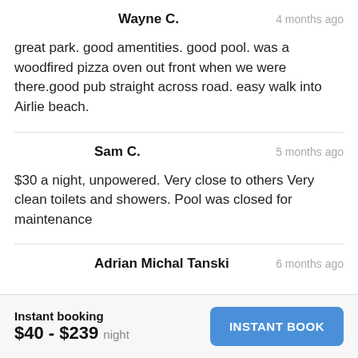Wayne C.
4 months ago
great park. good amentities. good pool. was a woodfired pizza oven out front when we were there.good pub straight across road. easy walk into Airlie beach.
Sam C.
5 months ago
$30 a night, unpowered. Very close to others Very clean toilets and showers. Pool was closed for maintenance
Adrian Michal Tanski
6 months ago
Instant booking
$40 - $239 night
INSTANT BOOK